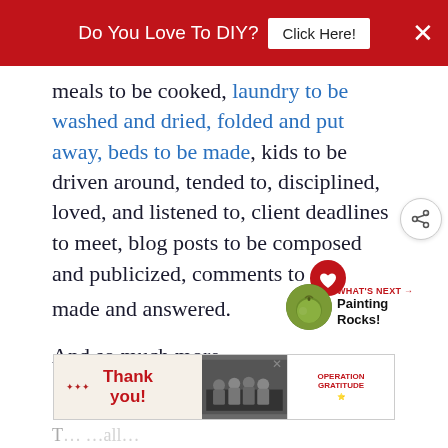Do You Love To DIY? [Click Here!] ×
meals to be cooked, laundry to be washed and dried, folded and put away, beds to be made, kids to be driven around, tended to, disciplined, loved, and listened to, client deadlines to meet, blog posts to be composed and publicized, comments to [heart] made and answered.
And so much more.
[Figure (photo): What's Next thumbnail showing a green apple, with label 'WHAT'S NEXT → Painting Rocks!']
[Figure (photo): Bottom advertisement banner: 'Thank you!' with Operation Gratitude imagery of firefighters]
T... ...all...